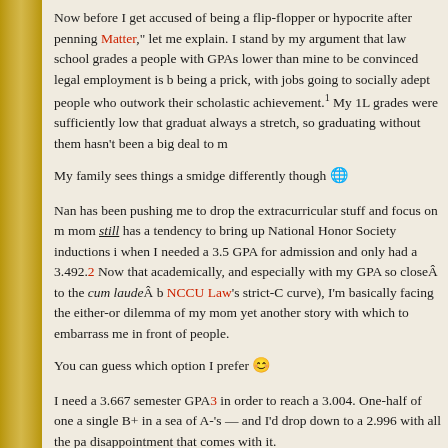Now before I get accused of being a flip-flopper or hypocrite after penning Matter, let me explain. I stand by my argument that law school grades are people with GPAs lower than mine to be convinced legal employment is being a prick, with jobs going to socially adept people who outwork their scholastic achievement.1 My 1L grades were sufficiently low that graduating always a stretch, so graduating without them hasn't been a big deal to me.
My family sees things a smidge differently though 🌐
Nan has been pushing me to drop the extracurricular stuff and focus on mom still has a tendency to bring up National Honor Society inductions when I needed a 3.5 GPA for admission and only had a 3.492.2 Now that academically, and especially with my GPA so closeÀ to the cum laudeÀ b NCCU Law's strict-C curve), I'm basically facing the either-or dilemma of my mom yet another story with which to embarrass me in front of people.
You can guess which option I prefer 😊
I need a 3.667 semester GPA3 in order to reach a 3.004. One-half of one a single B+ in a sea of A-'s — and I'd drop down to a 2.996 with all the pa disappointment that comes with it.
So it was in that spirit I talked to Prof Ks yesterday, explaining my situation gently twist professors' arms for insight on how to get better grades. I was